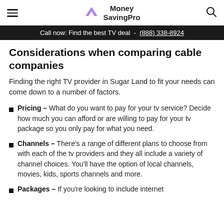Money SavingPro
Call now: Find the best TV deal - (888) 338-8924
Considerations when comparing cable companies
Finding the right TV provider in Sugar Land to fit your needs can come down to a number of factors.
Pricing – What do you want to pay for your tv service? Decide how much you can afford or are willing to pay for your tv package so you only pay for what you need.
Channels – There's a range of different plans to choose from with each of the tv providers and they all include a variety of channel choices. You'll have the option of local channels, movies, kids, sports channels and more.
Packages – If you're looking to include internet